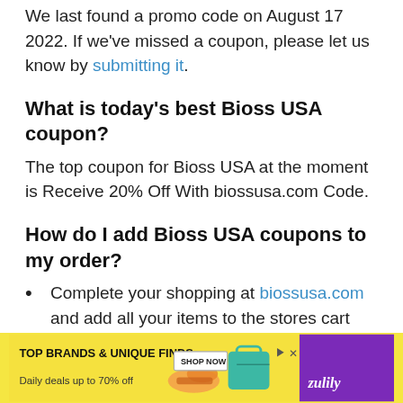We last found a promo code on August 17 2022. If we've missed a coupon, please let us know by submitting it.
What is today's best Bioss USA coupon?
The top coupon for Bioss USA at the moment is Receive 20% Off With biossusa.com Code.
How do I add Bioss USA coupons to my order?
Complete your shopping at biossusa.com and add all your items to the stores cart
Find the best coupon or deal on DealDrop and click Show Coupon Code
Pa... on Co...
[Figure (infographic): Advertisement banner: yellow background with 'TOP BRANDS & UNIQUE FINDS' text, 'Daily deals up to 70% off', shoe and teal bag images, 'SHOP NOW' button, play/close icons, and Zulily brand name in purple corner.]